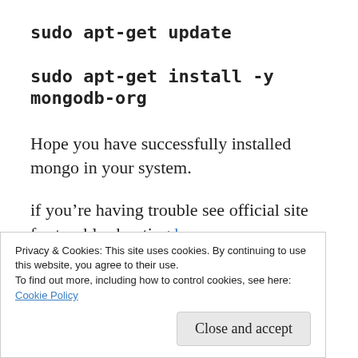sudo apt-get update
sudo apt-get install -y mongodb-org
Hope you have successfully installed mongo in your system.
if you’re having trouble see official site for trouble shooting here
Ti...
Privacy & Cookies: This site uses cookies. By continuing to use this website, you agree to their use.
To find out more, including how to control cookies, see here:
Cookie Policy
Close and accept